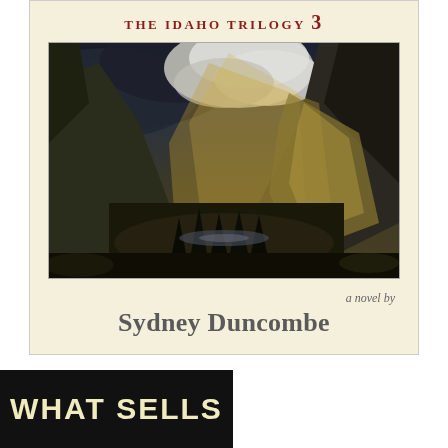THE IDAHO TRILOGY 3
[Figure (illustration): Dramatic landscape painting of a mountain valley with stormy clouds, golden light breaking through dark sky, rocky cliffs on both sides, valley floor with trees and river]
a novel by
Sydney Duncombe
[Figure (illustration): Book cover with dark background and bold text reading WHAT SELLS in cream and gold/yellow colors]